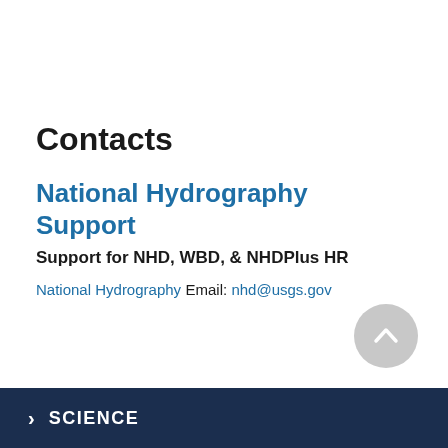Contacts
National Hydrography Support
Support for NHD, WBD, & NHDPlus HR
National Hydrography
Email: nhd@usgs.gov
> SCIENCE